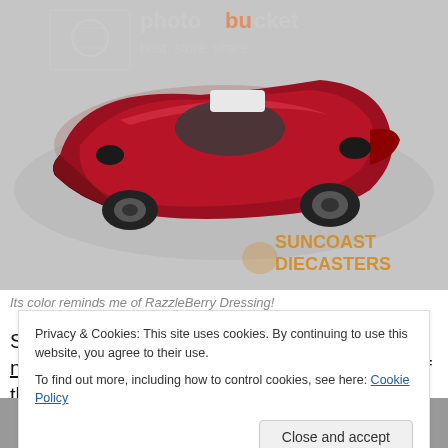[Figure (photo): Top-down photo of a red metallic Hot Wheels Swingin' Wing die-cast car on a light background, with a Photobucket watermark overlay and Suncoast Diecasters logo in lower right]
Its color reminds me of RazzleBerry Dressing!
Since it's quite likely that some of you have never seen Swingin' Wing before, in the spirit of the holiday I offer you this Christmas Bonus photo of the model's base as well. You have to admit, it even looks sleek and fast from
Privacy & Cookies: This site uses cookies. By continuing to use this website, you agree to their use.
To find out more, including how to control cookies, see here: Cookie Policy
[Figure (photo): Partial view of the bottom/base of the Hot Wheels Swingin' Wing die-cast car model in grayscale]